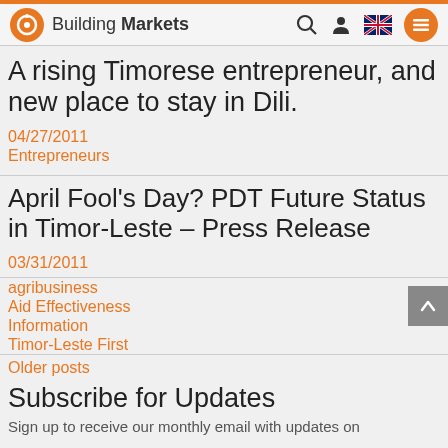Building Markets
A rising Timorese entrepreneur, and new place to stay in Dili.
04/27/2011
Entrepreneurs
April Fool's Day? PDT Future Status in Timor-Leste – Press Release
03/31/2011
agribusiness
Aid Effectiveness
Information
Timor-Leste First
Older posts
Subscribe for Updates
Sign up to receive our monthly email with updates on